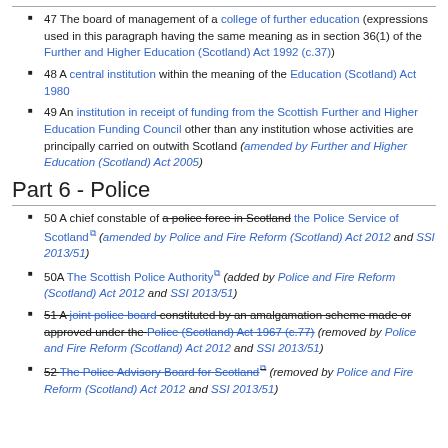47 The board of management of a college of further education (expressions used in this paragraph having the same meaning as in section 36(1) of the Further and Higher Education (Scotland) Act 1992 (c.37))
48 A central institution within the meaning of the Education (Scotland) Act 1980
49 An institution in receipt of funding from the Scottish Further and Higher Education Funding Council other than any institution whose activities are principally carried on outwith Scotland (amended by Further and Higher Education (Scotland) Act 2005)
Part 6 - Police
50 A chief constable of a police force in Scotland the Police Service of Scotland (amended by Police and Fire Reform (Scotland) Act 2012 and SSI 2013/51)
50A The Scottish Police Authority (added by Police and Fire Reform (Scotland) Act 2012 and SSI 2013/51)
51 A joint police board constituted by an amalgamation scheme made or approved under the Police (Scotland) Act 1967 (c.77) (removed by Police and Fire Reform (Scotland) Act 2012 and SSI 2013/51)
52 The Police Advisory Board for Scotland (removed by Police and Fire Reform (Scotland) Act 2012 and SSI 2013/51)